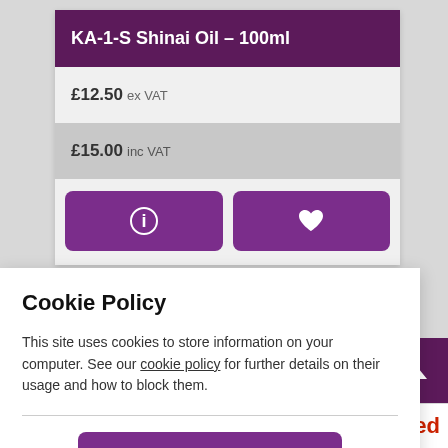KA-1-S Shinai Oil - 100ml
£12.50 ex VAT
£15.00 inc VAT
[Figure (screenshot): Two purple buttons: an info button (circle-i icon) and a wishlist/heart button]
Cookie Policy
This site uses cookies to store information on your computer. See our cookie policy for further details on their usage and how to block them.
[Figure (other): I Agree button with checkmark]
Red